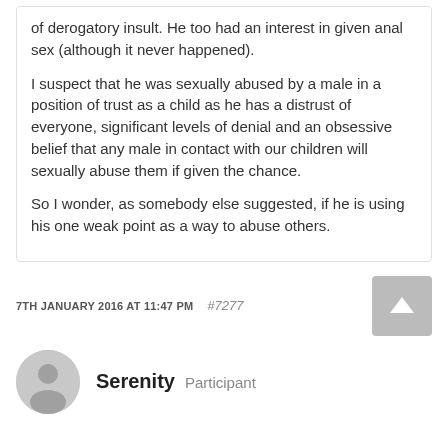of derogatory insult. He too had an interest in given anal sex (although it never happened).

I suspect that he was sexually abused by a male in a position of trust as a child as he has a distrust of everyone, significant levels of denial and an obsessive belief that any male in contact with our children will sexually abuse them if given the chance.

So I wonder, as somebody else suggested, if he is using his one weak point as a way to abuse others.
7TH JANUARY 2016 AT 11:47 PM  #7277
Serenity  Participant